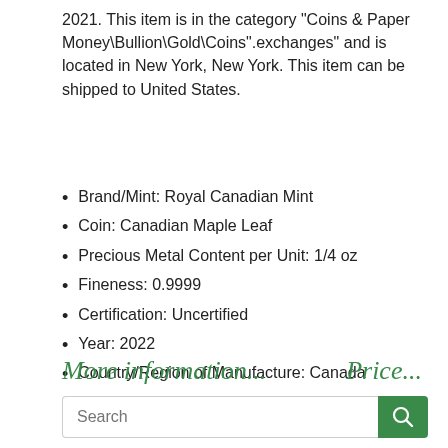2021. This item is in the category "Coins & Paper Money\Bullion\Gold\Coins".exchanges" and is located in New York, New York. This item can be shipped to United States.
Brand/Mint: Royal Canadian Mint
Coin: Canadian Maple Leaf
Precious Metal Content per Unit: 1/4 oz
Fineness: 0.9999
Certification: Uncertified
Year: 2022
Country/Region of Manufacture: Canada
Denomination: $10 CAN
More information... Price...